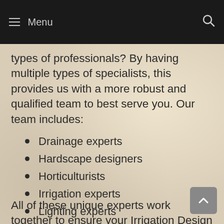Menu
types of professionals? By having multiple types of specialists, this provides us with a more robust and qualified team to best serve you. Our team includes:
Drainage experts
Hardscape designers
Horticulturists
Irrigation experts
Lighting experts
All of these unique experts work together to ensure your Irrigation Design in Eastvale CA is completed the best way possible. We are